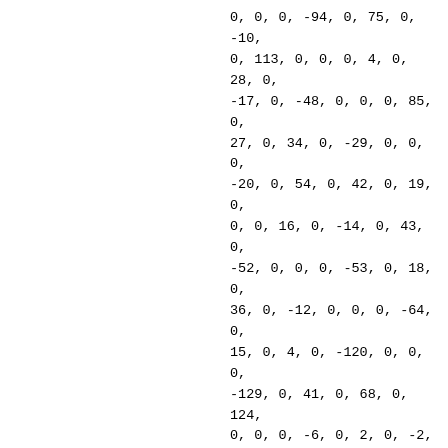0, 0, 0, -94, 0, 75, 0, -10, 0, 113, 0, 0, 0, 4, 0, 28, 0, -17, 0, -48, 0, 0, 0, 85, 0, 27, 0, 34, 0, -29, 0, 0, 0, -20, 0, 54, 0, 42, 0, 19, 0, 0, 0, 16, 0, -14, 0, 43, 0, -52, 0, 0, 0, -53, 0, 18, 0, 36, 0, -12, 0, 0, 0, -64, 0, 15, 0, 4, 0, -120, 0, 0, 0, -129, 0, 41, 0, 68, 0, 124, 0, 0, 0, -6, 0, 2, 0, -2, 0, 0, 0, 0, 0, -12, 0, -32, 0, -106, 0, -10, 0, 0, 0, 32, 0, -108, 0, -15, 0, -44, 0, 0, 0, -46, 0, -198, 0, 14, 0, -7, 0, 0, 0, -74, 0, -28, 0, -66, 0, 0, 0, 0, 0, 7, 0, 78, 0, -7, 0, -36, 0, 0, 0, 12, 0, 29, 0, 162, 0, -27, 0, 0, 0, 88, 0, -32, 0, -51, 0,